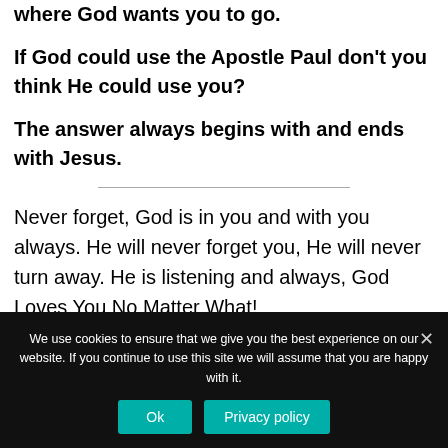where God wants you to go.
If God could use the Apostle Paul don't you think He could use you?
The answer always begins with and ends with Jesus.
Never forget, God is in you and with you always. He will never forget you, He will never turn away. He is listening and always, God Loves You No Matter What!
We use cookies to ensure that we give you the best experience on our website. If you continue to use this site we will assume that you are happy with it.